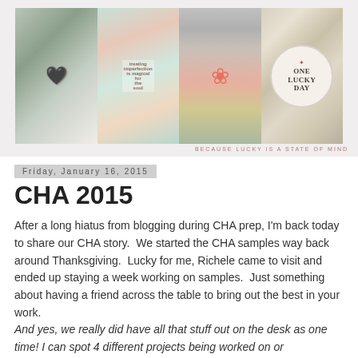[Figure (photo): Blog header banner for 'One Lucky Day' blog showing a collage of four craft/lifestyle photos: a metal charm/pendant, colorful mixed media art with text stamps reading 'treating imperfection as magical for the soul', a striped fabric with coral flower, and a shelf display with 'ONE LUCKY DAY' circular sign. Tagline reads 'BECAUSE LUCKY IS A STATE OF MIND']
Friday, January 16, 2015
CHA 2015
After a long hiatus from blogging during CHA prep, I'm back today to share our CHA story.  We started the CHA samples way back around Thanksgiving.  Lucky for me, Richele came to visit and ended up staying a week working on samples.  Just something about having a friend across the table to bring out the best in your work.
And yes, we really did have all that stuff out on the desk as one time! I can spot 4 different projects being worked on or